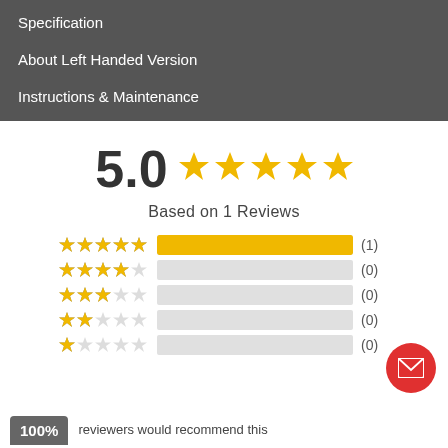Specification
About Left Handed Version
Instructions & Maintenance
[Figure (infographic): Rating display: 5.0 with 5 filled gold stars]
Based on 1 Reviews
[Figure (infographic): Star rating breakdown bars: 5-star 1 review (full yellow bar), 4-star 0, 3-star 0, 2-star 0, 1-star 0]
100% reviewers would recommend this